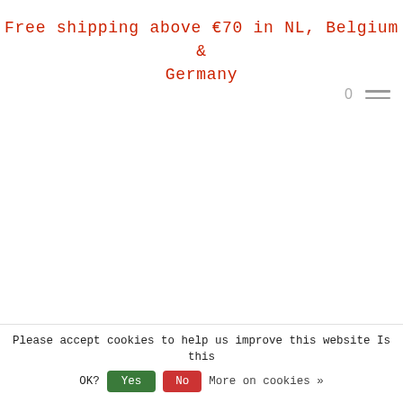Free shipping above €70 in NL, Belgium & Germany
0
≡
Please accept cookies to help us improve this website Is this OK?  Yes  No  More on cookies »